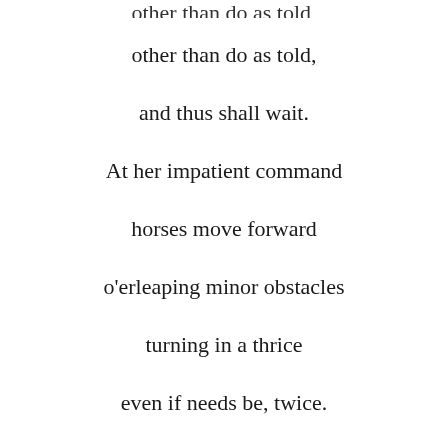other than do as told,
and thus shall wait.
At her impatient command
horses move forward
o'erleaping minor obstacles
turning in a thrice
even if needs be, twice.
To his bidding cold churchmen
(partial top line, clipped)